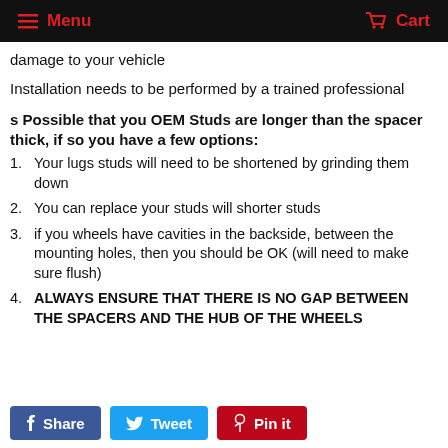Menu   Cart
damage to your vehicle
Installation needs to be performed by a trained professional
s Possible that you OEM Studs are longer than the spacer thick, if so you have a few options:
1. Your lugs studs will need to be shortened by grinding them down
2. You can replace your studs will shorter studs
3. if you wheels have cavities in the backside, between the mounting holes, then you should be OK (will need to make sure flush)
4. ALWAYS ENSURE THAT THERE IS NO GAP BETWEEN THE SPACERS AND THE HUB OF THE WHEELS